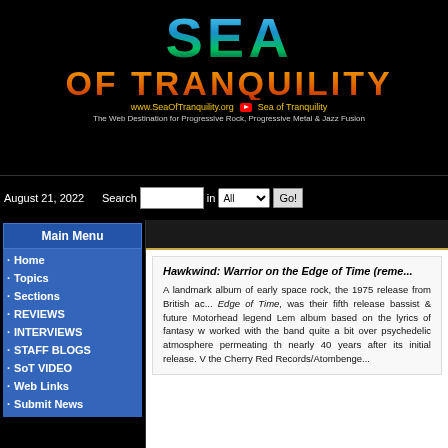[Figure (logo): Sea of Tranquility website banner with stylized SEA OF TRANQUILITY logo in blue-green and orange, URL www.SeaOfTranquility.org, YouTube icon, tagline: The Web Destination for Progressive Rock, Progressive Metal & Jazz Fusion]
August 21, 2022
Main Menu
Home
Topics
Sections
REVIEWS
INTERVIEWS
STAFF BLOGS
SoT VIDEO
Web Links
Submit News
Hawkwind: Warrior on the Edge of Time (reme...
A landmark album of early space rock, the 1975 release from British ac... Edge of Time, was their fifth release bassist & future Motorhead legend Lem album based on the lyrics of fantasy w worked with the band quite a bit over psychedelic atmosphere permeating th nearly 40 years after its initial release. the Cherry Red Records/Atombenge...